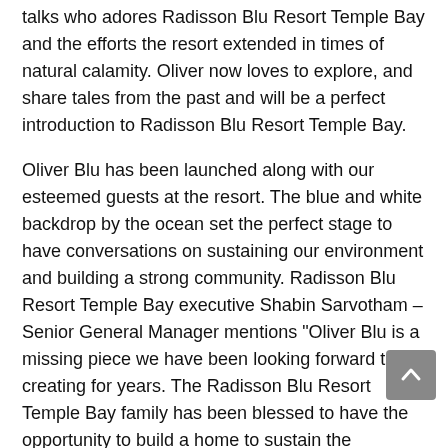talks who adores Radisson Blu Resort Temple Bay and the efforts the resort extended in times of natural calamity. Oliver now loves to explore, and share tales from the past and will be a perfect introduction to Radisson Blu Resort Temple Bay.
Oliver Blu has been launched along with our esteemed guests at the resort. The blue and white backdrop by the ocean set the perfect stage to have conversations on sustaining our environment and building a strong community. Radisson Blu Resort Temple Bay executive Shabin Sarvotham – Senior General Manager mentions "Oliver Blu is a missing piece we have been looking forward to creating for years. The Radisson Blu Resort Temple Bay family has been blessed to have the opportunity to build a home to sustain the environment around us and this is another step to involve our patrons in this endeavor. Olive Ridley turtles hold a special place in the hearts of those at Radisson Blu Resort Temple Bay, and we are elated to now have one in our family.
Over their long years of service, Radisson Blu Resort Temple Bay has